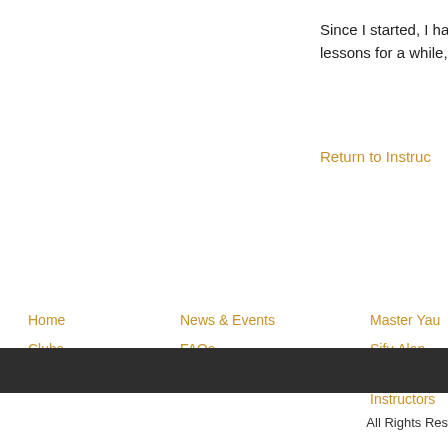Since I started, I ha... lessons for a while,
Return to Instruc...
Home
Clubs
Contact Us
News & Events
FAQs
Policies
Master Yau
Sifu Alan Neeld
Instructors
All Rights Res...